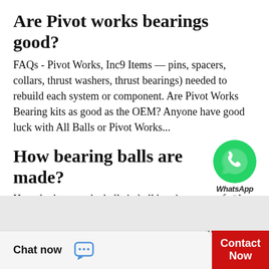Are Pivot works bearings good?
FAQs - Pivot Works, Inc9 Items — pins, spacers, collars, thrust washers, thrust bearings) needed to rebuild each system or component. Are Pivot Works Bearing kits as good as the OEM? Anyone have good luck with All Balls or Pivot Works...
How bearing balls are made?
[Figure (logo): WhatsApp green circle logo icon with phone handset, labeled 'WhatsApp' and 'online' below]
How do they get the balls in ball bearings so perfectly roundYou might have wondered how anything could be made that perfect. It's actually a pretty neat process that starts with a metal wire and ends with a perfect shiny ball  How ball...
Chat now
Contact Now